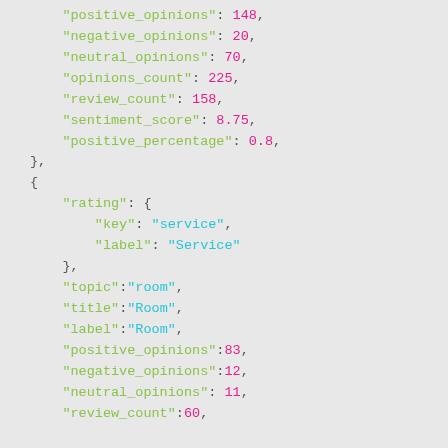JSON code snippet showing fields: positive_opinions: 148, negative_opinions: 20, neutral_opinions: 70, opinions_count: 225, review_count: 158, sentiment_score: 8.75, positive_percentage: 0.8, }, {, rating: { key: service, label: Service }, topic: room, title: Room, label: Room, positive_opinions: 83, negative_opinions: 12, neutral_opinions: 11, review_count: 60...